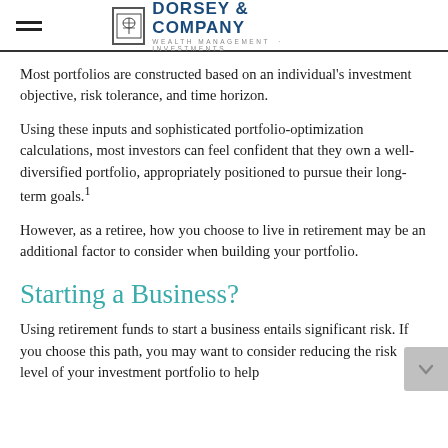Dorsey & Company — Wealth Management · Investments
Most portfolios are constructed based on an individual's investment objective, risk tolerance, and time horizon.
Using these inputs and sophisticated portfolio-optimization calculations, most investors can feel confident that they own a well-diversified portfolio, appropriately positioned to pursue their long-term goals.¹
However, as a retiree, how you choose to live in retirement may be an additional factor to consider when building your portfolio.
Starting a Business?
Using retirement funds to start a business entails significant risk. If you choose this path, you may want to consider reducing the risk level of your investment portfolio to help